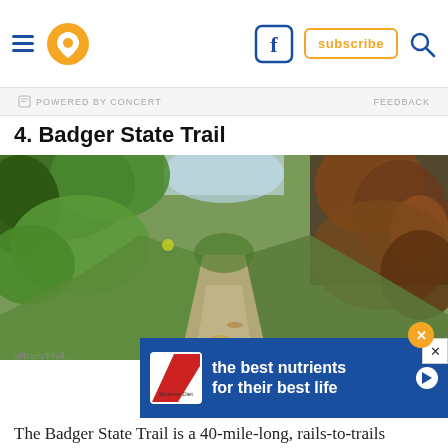Navigation header with hamburger menu, location icon, Facebook icon, subscribe button, search icon
POWERED BY CONCERT   FEEDBACK
4. Badger State Trail
[Figure (photo): A dirt trail running through dense green and reddish-brown foliage, trees lining both sides, photographed in autumn light]
alltrails/Phill...
[Figure (infographic): Hill's pet nutrition advertisement: Hill's logo on left, text reading 'the best nutrients for their best life' in white on blue background]
The Badger State Trail is a 40-mile-long, rails-to-trails adventure that stretches from the Illinois-Wisconsin border all the way to Madison. The 1,200-foot tunnel is one of the